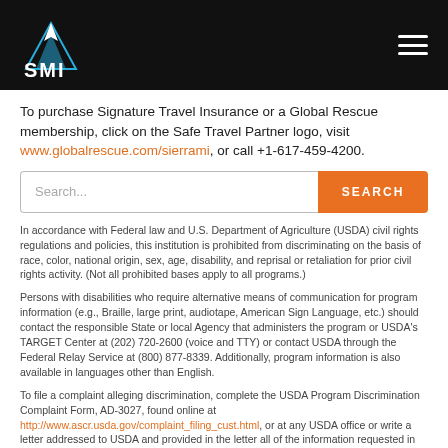[Figure (logo): SMI mountain logo in white/blue on black header bar, with hamburger menu icon on right]
To purchase Signature Travel Insurance or a Global Rescue membership, click on the Safe Travel Partner logo, visit www.globalrescue.com/sierrami, or call +1-617-459-4200.
Search...
In accordance with Federal law and U.S. Department of Agriculture (USDA) civil rights regulations and policies, this institution is prohibited from discriminating on the basis of race, color, national origin, sex, age, disability, and reprisal or retaliation for prior civil rights activity. (Not all prohibited bases apply to all programs.)
Persons with disabilities who require alternative means of communication for program information (e.g., Braille, large print, audiotape, American Sign Language, etc.) should contact the responsible State or local Agency that administers the program or USDA's TARGET Center at (202) 720-2600 (voice and TTY) or contact USDA through the Federal Relay Service at (800) 877-8339. Additionally, program information is also available in languages other than English.
To file a complaint alleging discrimination, complete the USDA Program Discrimination Complaint Form, AD-3027, found online at http://www.ascr.usda.gov/complaint_filing_cust.html, or at any USDA office or write a letter addressed to USDA and provided in the letter all of the information requested in the form. To request a copy of the complaint form, call (866) 632-9992. Submit your...